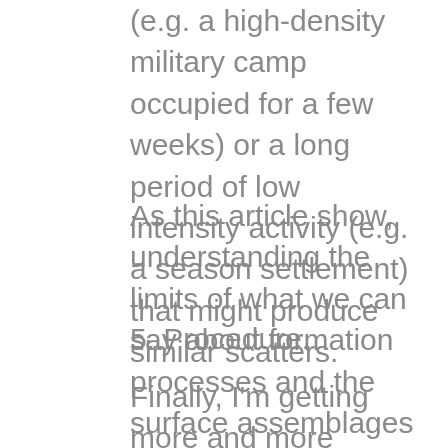(e.g. a high-density military camp occupied for a few weeks) or a long period of low intensity activity (e.g. a season settlement) that might produce similar scatters.
As this article show, understanding the limits of what we can say about formation processes and the surface assemblages remains central to understanding what arguments we can make at a regional scale.
5. Procedure.
Finally, I'm getting more and more interested in field practices. That is